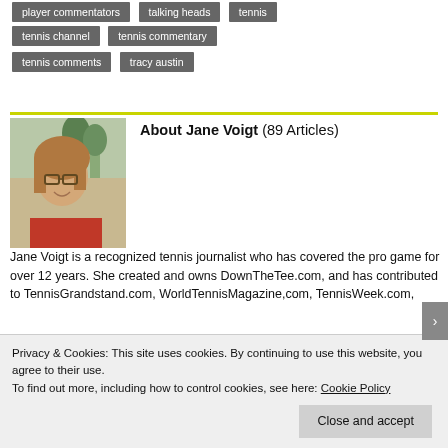player commentators
talking heads
tennis
tennis channel
tennis commentary
tennis comments
tracy austin
[Figure (photo): Headshot of Jane Voigt, woman with glasses and brown hair, wearing red top, outdoors background]
About Jane Voigt (89 Articles)

Jane Voigt is a recognized tennis journalist who has covered the pro game for over 12 years. She created and owns DownTheTee.com, and has contributed to TennisGrandstand.com, WorldTennisMagazine,com, TennisWeek.com,
Privacy & Cookies: This site uses cookies. By continuing to use this website, you agree to their use.
To find out more, including how to control cookies, see here: Cookie Policy
Close and accept